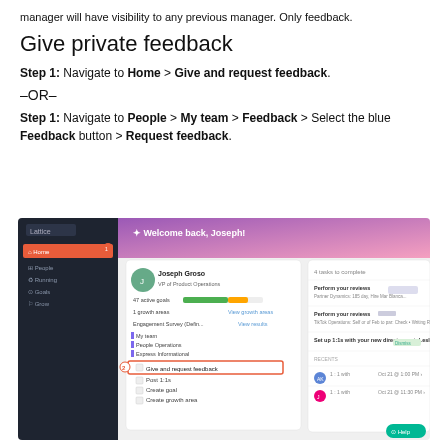manager will have visibility to any previous manager. Only feedback.
Give private feedback
Step 1: Navigate to Home > Give and request feedback.
–OR–
Step 1: Navigate to People > My team > Feedback > Select the blue Feedback button > Request feedback.
[Figure (screenshot): A screenshot of the Lattice application showing the Home screen with a Welcome back, Joseph! greeting, user profile card for Joseph Grass VP of Product Operations, goals progress, growth areas, Engagement Survey, My team, People Operations, Express Informational links, and a highlighted menu item 'Give and request feedback' marked with number 2. On the right side there is a task panel showing tasks to complete including performance reviews and direct report tasks.]